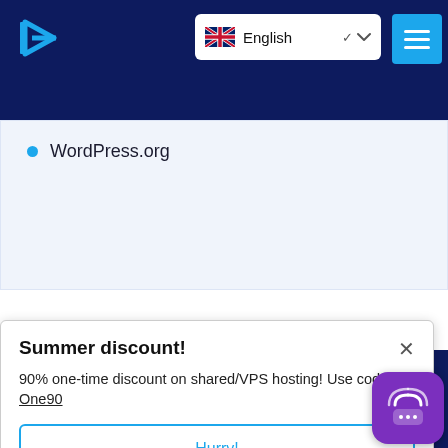F7 logo | English language selector | Menu button
WordPress.org
[Figure (screenshot): Dark navy background section (footer area) with partial white input bar visible at bottom]
Summer discount!
90% one-time discount on shared/VPS hosting! Use code One90
Hurry!
[Figure (illustration): Purple chat widget icon with wifi/broadcast symbol and ellipsis dots in bottom right corner]